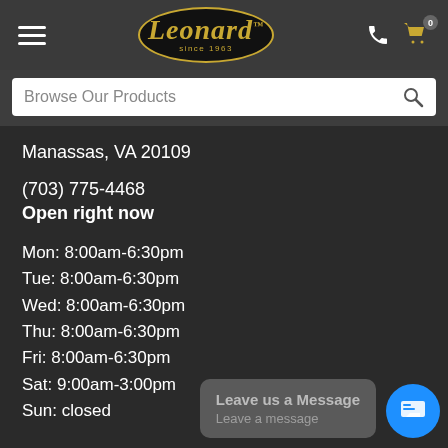[Figure (logo): Leonard since 1963 logo — gold italic script text on black oval with gold border, hamburger menu icon on left, phone and cart icons on right]
Browse Our Products
Manassas, VA 20109
(703) 775-4468
Open right now
Mon: 8:00am-6:30pm
Tue: 8:00am-6:30pm
Wed: 8:00am-6:30pm
Thu: 8:00am-6:30pm
Fri: 8:00am-6:30pm
Sat: 9:00am-3:00pm
Sun: closed
Leave us a Message
Leave a message